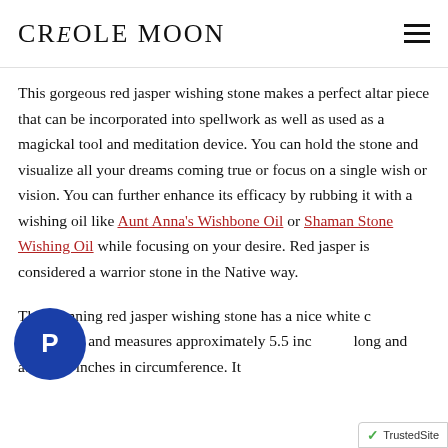CREOLE MOON
This gorgeous red jasper wishing stone makes a perfect altar piece that can be incorporated into spellwork as well as used as a magickal tool and meditation device. You can hold the stone and visualize all your dreams coming true or focus on a single wish or vision. You can further enhance its efficacy by rubbing it with a wishing oil like Aunt Anna's Wishbone Oil or Shaman Stone Wishing Oil while focusing on your desire. Red jasper is considered a warrior stone in the Native way.
This stunning red jasper wishing stone has a nice white circle around it and measures approximately 5.5 inches long and about 10 inches in circumference. It weighs about 2...